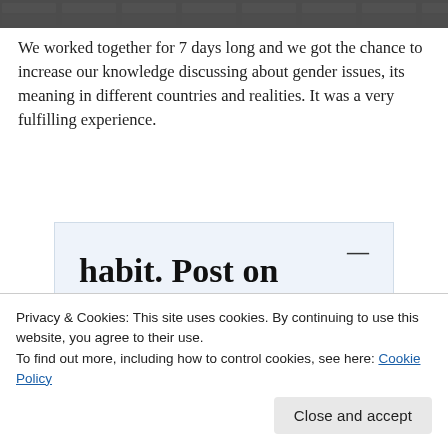[Figure (photo): Dark stone wall or texture image at the top of the page]
We worked together for 7 days long and we got the chance to increase our knowledge discussing about gender issues, its meaning in different countries and realities. It was a very fulfilling experience.
[Figure (screenshot): WordPress app advertisement with text 'habit. Post on the go.' and 'GET THE APP' call to action with WordPress logo]
Privacy & Cookies: This site uses cookies. By continuing to use this website, you agree to their use.
To find out more, including how to control cookies, see here: Cookie Policy